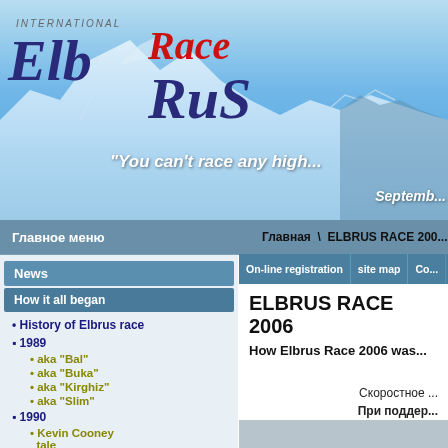[Figure (photo): Header banner with snowy mountain (Elbrus) in background, blue sky. Logo reads INTERNATIONAL ElbRuS Race in stylized text. Tagline: "You can't race any high" and date line "Septemb..."]
Главное меню   |   Главная \ ELBRUS RACE 2006
Главное меню
News
How it all began
History of Elbrus race
1989
aka "Bal"
aka "Buka"
aka "Kirghiz"
aka "Slim"
1990
Kevin Cooney tale
photos of 1990
ELBRUS RACE 2006
How Elbrus Race 2006 was...
Скоростное ...
При поддер...
Фото Дмитрия...